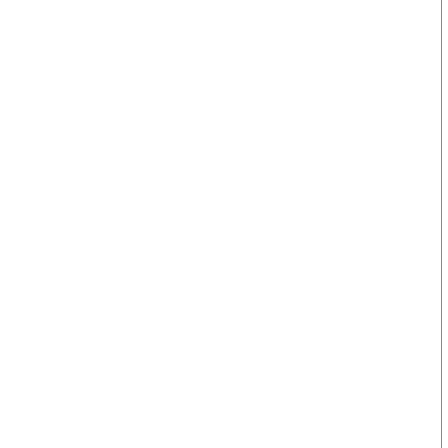box If you already used up some of the labels on the physical sheet you are going to print onto the just sta...